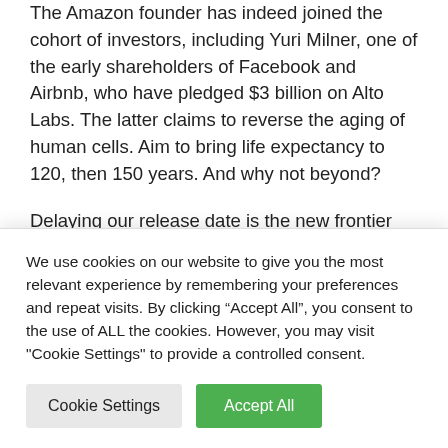The Amazon founder has indeed joined the cohort of investors, including Yuri Milner, one of the early shareholders of Facebook and Airbnb, who have pledged $3 billion on Alto Labs. The latter claims to reverse the aging of human cells. Aim to bring life expectancy to 120, then 150 years. And why not beyond?
Delaying our release date is the new frontier
We use cookies on our website to give you the most relevant experience by remembering your preferences and repeat visits. By clicking “Accept All”, you consent to the use of ALL the cookies. However, you may visit "Cookie Settings" to provide a controlled consent.